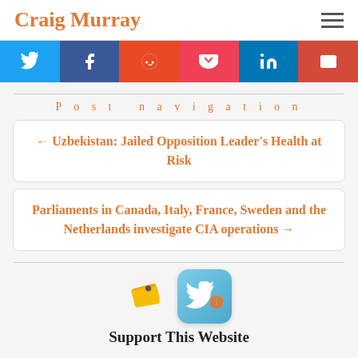Craig Murray
[Figure (other): Social sharing buttons: Twitter, Facebook, Reddit, Pocket, LinkedIn, Email]
Post navigation
← Uzbekistan: Jailed Opposition Leader's Health at Risk
Parliaments in Canada, Italy, France, Sweden and the Netherlands investigate CIA operations →
[Figure (illustration): Tag/bookmark icon and Twitter widget icon]
Support This Website